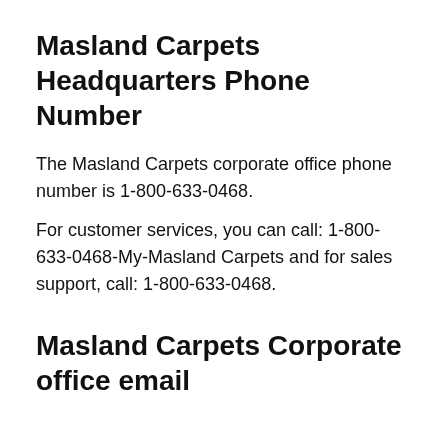Masland Carpets Headquarters Phone Number
The Masland Carpets corporate office phone number is 1-800-633-0468.
For customer services, you can call: 1-800-633-0468-My-Masland Carpets and for sales support, call: 1-800-633-0468.
Masland Carpets Corporate office email